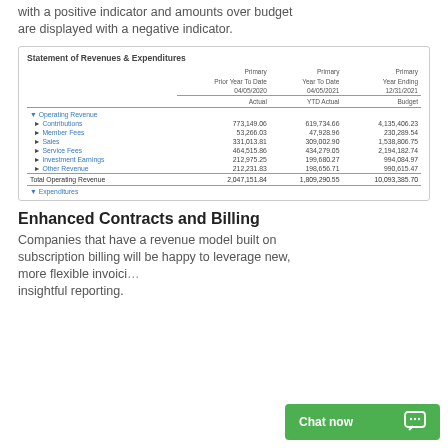with a positive indicator and amounts over budget are displayed with a negative indicator.
|  | Primary Prior Year To Date 04/05/2020 Actual | Primary Year To Date 04/05/2021 YTD Actual | Primary Year Ending 12/31/2021 Budget |
| --- | --- | --- | --- |
| Operating Revenue |  |  |  |
| Contributions | 773,149.06 | 619,734.66 | 4,135,406.23 |
| Member Fees | 53,266.03 | 47,928.96 | 230,289.54 |
| Sales | 331,013.81 | 309,002.90 | 1,538,806.75 |
| Service Fees | 464,515.86 | 434,279.05 | 2,194,182.74 |
| Investment Earnings | 212,975.25 | 199,680.27 | 994,084.97 |
| Other Revenue | 212,231.83 | 198,656.71 | 990,615.47 |
| Total Operating Revenue | 2,047,151.84 | 1,809,290.55 | 10,093,385.70 |
| Expenditures |  |  |  |
Enhanced Contracts and Billing
Companies that have a revenue model built on subscription billing will be happy to leverage new, more flexible invoici… insightful reporting.